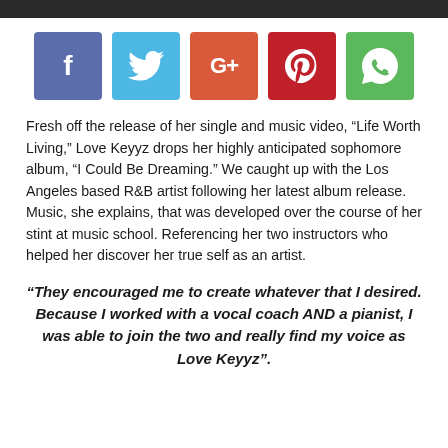[Figure (infographic): Row of five social media share buttons: Facebook (blue-purple), Twitter (light blue), Google+ (orange-red), Pinterest (dark red), WhatsApp (green)]
Fresh off the release of her single and music video, “Life Worth Living,” Love Keyyz drops her highly anticipated sophomore album, “I Could Be Dreaming.” We caught up with the Los Angeles based R&B artist following her latest album release. Music, she explains, that was developed over the course of her stint at music school. Referencing her two instructors who helped her discover her true self as an artist.
“They encouraged me to create whatever that I desired. Because I worked with a vocal coach AND a pianist, I was able to join the two and really find my voice as Love Keyyz”.